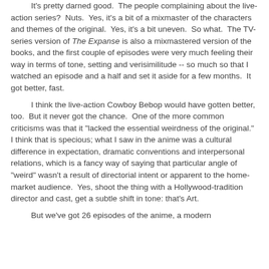It's pretty darned good. The people complaining about the live-action series? Nuts. Yes, it's a bit of a mixmaster of the characters and themes of the original. Yes, it's a bit uneven. So what. The TV-series version of The Expanse is also a mixmastered version of the books, and the first couple of episodes were very much feeling their way in terms of tone, setting and verisimilitude -- so much so that I watched an episode and a half and set it aside for a few months. It got better, fast.
I think the live-action Cowboy Bebop would have gotten better, too. But it never got the chance. One of the more common criticisms was that it "lacked the essential weirdness of the original." I think that is specious; what I saw in the anime was a cultural difference in expectation, dramatic conventions and interpersonal relations, which is a fancy way of saying that particular angle of "weird" wasn't a result of directorial intent or apparent to the home-market audience. Yes, shoot the thing with a Hollywood-tradition director and cast, get a subtle shift in tone: that's Art.
But we've got 26 episodes of the anime, a modern